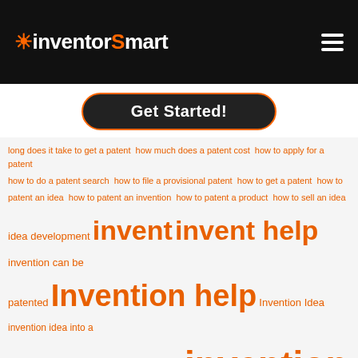[Figure (logo): InventorSmart logo in white and orange on black header bar]
Get Started!
long does it take to get a patent  how much does a patent cost  how to apply for a patent  how to do a patent search  how to file a provisional patent  how to get a patent  how to patent an idea  how to patent an invention  how to patent a product  how to sell an idea  idea development  invent  invent help  invention can be patented  Invention help  Invention Idea  invention idea into a product  invention ideas  invention patent  invention process  invention products  Inventors  inventors about  inventor smart  Long Island Inventors Club  new inventions